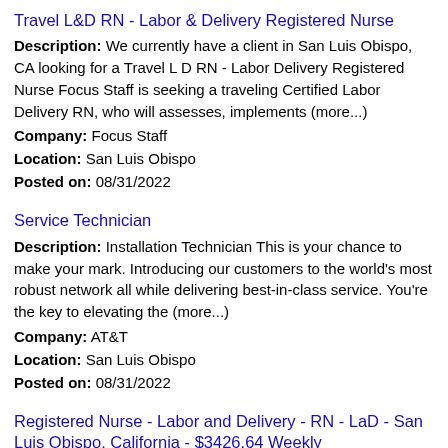Travel L&D RN - Labor & Delivery Registered Nurse
Description: We currently have a client in San Luis Obispo, CA looking for a Travel L D RN - Labor Delivery Registered Nurse Focus Staff is seeking a traveling Certified Labor Delivery RN, who will assesses, implements (more...)
Company: Focus Staff
Location: San Luis Obispo
Posted on: 08/31/2022
Service Technician
Description: Installation Technician This is your chance to make your mark. Introducing our customers to the world's most robust network all while delivering best-in-class service. You're the key to elevating the (more...)
Company: AT&T
Location: San Luis Obispo
Posted on: 08/31/2022
Registered Nurse - Labor and Delivery - RN - LaD - San Luis Obispo, California - $3426.64 Weekly
Description: TotalMed is seeking a Registered Nurse for an Labor and Delivery travel assignment in San Luis Obispo, California. br Pays 3426.64 Per Week br Shift: 18:00 - 06:30 br Duration: 2022-10-03...